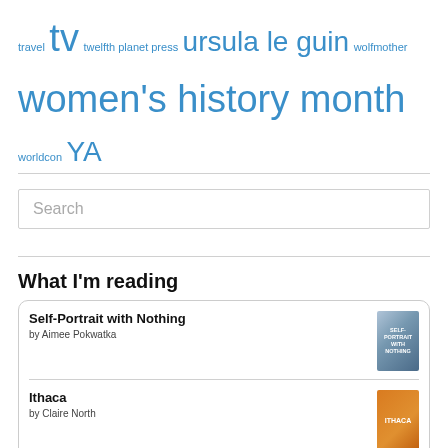travel tv twelfth planet press ursula le guin wolfmother women's history month worldcon YA
What I'm reading
Self-Portrait with Nothing by Aimee Pokwatka
Ithaca by Claire North
Grounded in the Body, in Time and Place, in Scripture: Papers